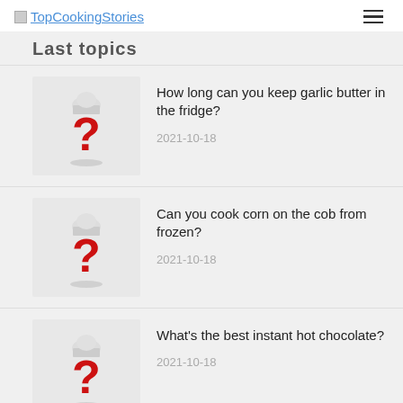TopCookingStories
Last topics
How long can you keep garlic butter in the fridge?
2021-10-18
Can you cook corn on the cob from frozen?
2021-10-18
What's the best instant hot chocolate?
2021-10-18